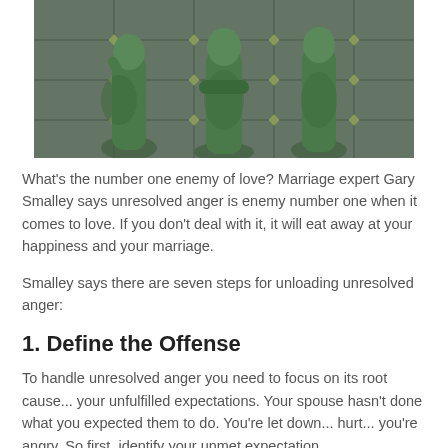[Figure (photo): A photograph showing three bronze or green-patinated statues of standing figures in front of a building with a grid-like facade.]
What's the number one enemy of love? Marriage expert Gary Smalley says unresolved anger is enemy number one when it comes to love. If you don't deal with it, it will eat away at your happiness and your marriage.
Smalley says there are seven steps for unloading unresolved anger:
1. Define the Offense
To handle unresolved anger you need to focus on its root cause... your unfulfilled expectations. Your spouse hasn't done what you expected them to do. You're let down... hurt... you're angry. So first, identify your unmet expectation.
Take a look at your part in having this need unmet? Did you